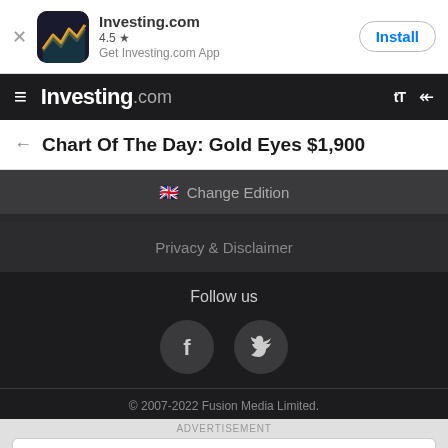[Figure (screenshot): Investing.com app install banner with app icon, 4.5 star rating, and Install button]
Investing.com
Chart Of The Day: Gold Eyes $1,900
Change Edition
Privacy & Disclaimer
Follow us
© 2007-2022 Fusion Media Limited.
ADVERTISEMENT
Advanced Integration ERP
Integrate w/ OmegaCube ERP